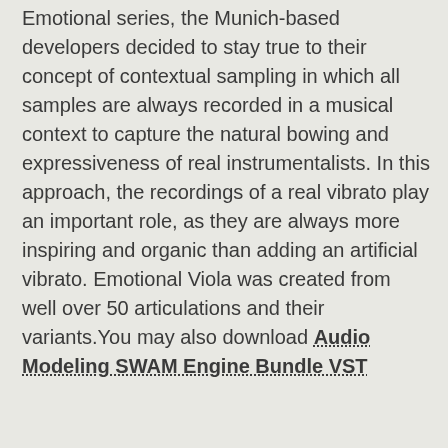Emotional series, the Munich-based developers decided to stay true to their concept of contextual sampling in which all samples are always recorded in a musical context to capture the natural bowing and expressiveness of real instrumentalists. In this approach, the recordings of a real vibrato play an important role, as they are always more inspiring and organic than adding an artificial vibrato. Emotional Viola was created from well over 50 articulations and their variants.You may also download Audio Modeling SWAM Engine Bundle VST